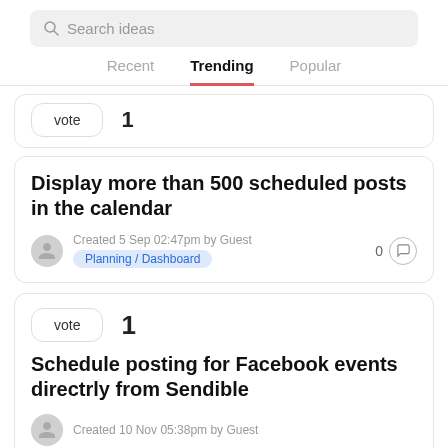[Figure (screenshot): Search bar with placeholder text 'Search ideas' and a search icon on a light gray background]
Recent   Trending   Popular
vote  1
Display more than 500 scheduled posts in the calendar
Created 5 Sep 02:47pm by Guest  Planning / Dashboard  0 comments
vote  1
Schedule posting for Facebook events directrly from Sendible